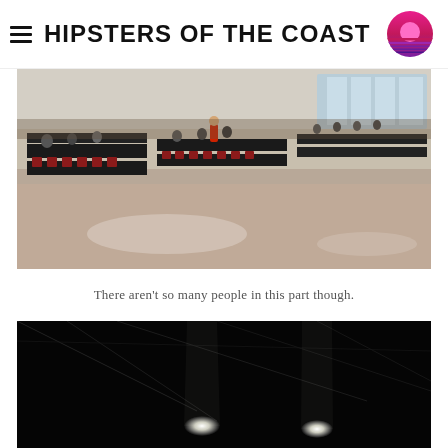HIPSTERS OF THE COAST
[Figure (photo): Wide-angle photo of a large convention hall filled with people seated at long black tables with red chairs, playing card games. The hall has a polished concrete floor and high ceiling with windows in the background.]
There aren't so many people in this part though.
[Figure (photo): Dark photo of a large venue interior with stage lighting visible — two bright white spotlights shine down in the darkness, with ceiling rigging visible above.]